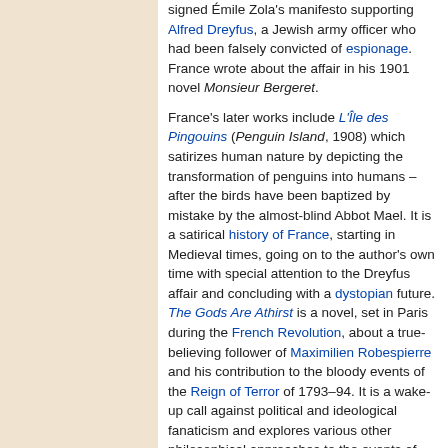signed Émile Zola's manifesto supporting Alfred Dreyfus, a Jewish army officer who had been falsely convicted of espionage. France wrote about the affair in his 1901 novel Monsieur Bergeret. France's later works include L'Île des Pingouins (Penguin Island, 1908) which satirizes human nature by depicting the transformation of penguins into humans – after the birds have been baptized by mistake by the almost-blind Abbot Mael. It is a satirical history of France, starting in Medieval times, going on to the author's own time with special attention to the Dreyfus affair and concluding with a dystopian future. The Gods Are Athirst is a novel, set in Paris during the French Revolution, about a true-believing follower of Maximilien Robespierre and his contribution to the bloody events of the Reign of Terror of 1793–94. It is a wake-up call against political and ideological fanaticism and explores various other philosophical approaches to the events of the time. La Revolte des Anges (Revolt of the Angels, 1914) is often considered Anatole